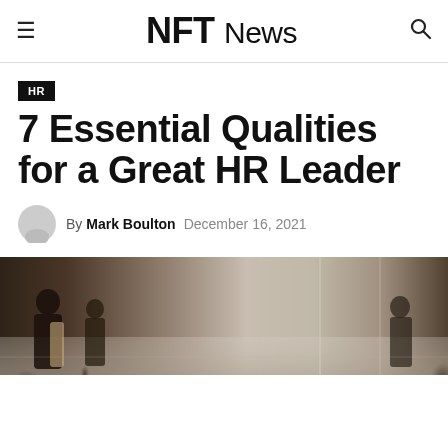NFT News
HR
7 Essential Qualities for a Great HR Leader
By Mark Boulton  December 16, 2021
[Figure (photo): Photo of people in a modern office or corridor, blurred background with figures in motion]